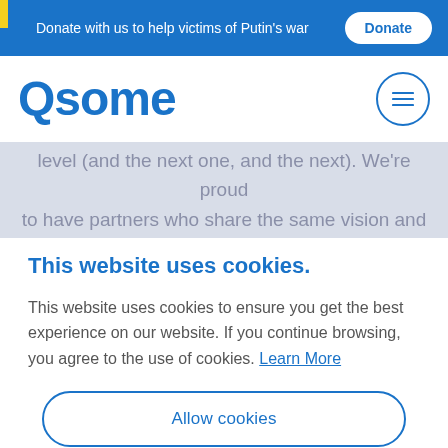Donate with us to help victims of Putin's war  Donate
[Figure (logo): Qsome logo in blue with hamburger menu circle button]
level (and the next one, and the next). We're proud to have partners who share the same vision and
This website uses cookies.
This website uses cookies to ensure you get the best experience on our website. If you continue browsing, you agree to the use of cookies. Learn More
Allow cookies